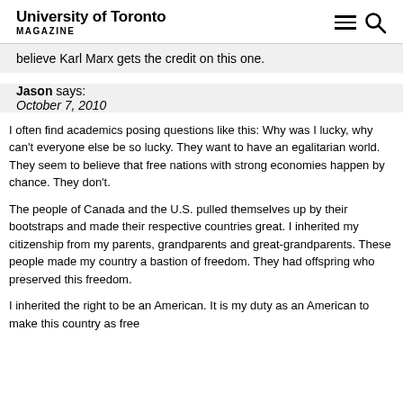University of Toronto MAGAZINE
believe Karl Marx gets the credit on this one.
Jason says:
October 7, 2010
I often find academics posing questions like this: Why was I lucky, why can't everyone else be so lucky. They want to have an egalitarian world. They seem to believe that free nations with strong economies happen by chance. They don't.
The people of Canada and the U.S. pulled themselves up by their bootstraps and made their respective countries great. I inherited my citizenship from my parents, grandparents and great-grandparents. These people made my country a bastion of freedom. They had offspring who preserved this freedom.
I inherited the right to be an American. It is my duty as an American to make this country as free